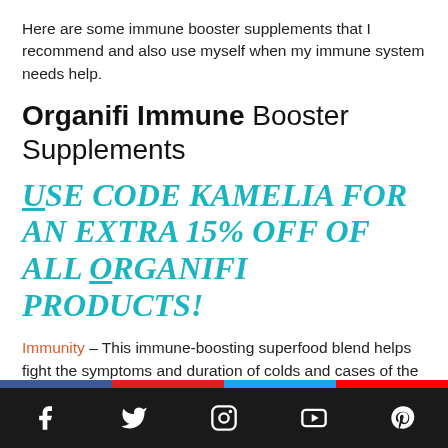Here are some immune booster supplements that I recommend and also use myself when my immune system needs help.
Organifi Immune Booster Supplements
Use code KAMELIA for an extra 15% OFF of ALL Organifi products!
Immunity – This immune-boosting superfood blend helps fight the symptoms and duration of colds and cases of the flu. Immunity contains ingredients like whole-food derived Zinc, Orange, Acerola, Baobab,
Social media icons: Facebook, Twitter, Instagram, YouTube, Pinterest